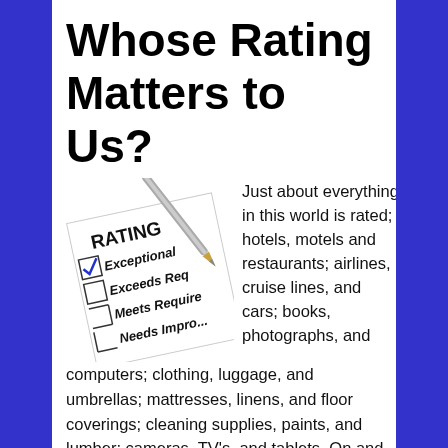Whose Rating Matters to Us?
[Figure (photo): A photo of a rating form/checklist with a pen, showing checkboxes for Exceptional, Exceeds Requirements, Meets Requirements, Needs Improvement with a checkmark in the first box.]
Just about everything in this world is rated; hotels, motels and restaurants; airlines, cruise lines, and cars; books, photographs, and computers; clothing, luggage, and umbrellas; mattresses, linens, and floor coverings; cleaning supplies, paints, and lumber; cameras, TV's, and tablets. On and on it goes. Sometimes I feel like I don't dare make a purchase unless a product has